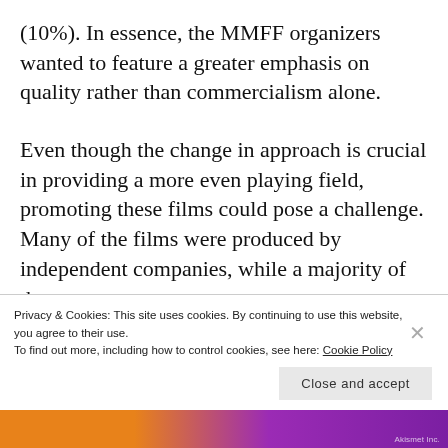(10%). In essence, the MMFF organizers wanted to feature a greater emphasis on quality rather than commercialism alone.
Even though the change in approach is crucial in providing a more even playing field, promoting these films could pose a challenge. Many of the films were produced by independent companies, while a majority of them
Privacy & Cookies: This site uses cookies. By continuing to use this website, you agree to their use.
To find out more, including how to control cookies, see here: Cookie Policy